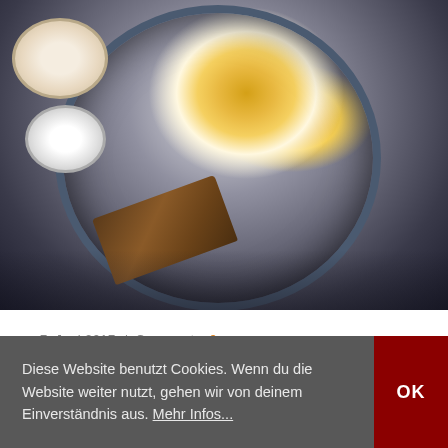[Figure (photo): Overhead food photo showing fried eggs in a dark pan with vegetables, small bowls of salt and seeds, dark bread pieces, and herbs on a dark background]
7. Juni 2017  /  Comments: 0
Smoked Paprika Hummus
Roast trout, English asparagus, watercress & royals, creamy chesapeake crab dip with artichoke, baked and topped with cheddar cheese, with crusty bread for dipping, creamy chesapeake crab dip with
Diese Website benutzt Cookies. Wenn du die Website weiter nutzt, gehen wir von deinem Einverständnis aus. Mehr Infos...